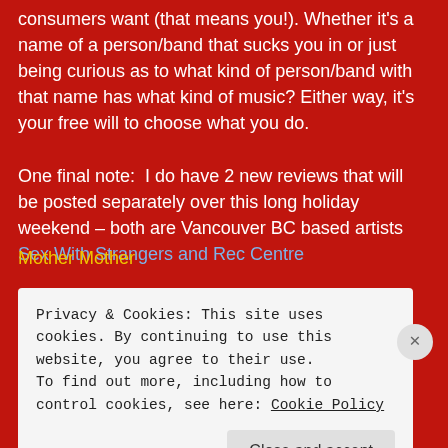consumers want (that means you!). Whether it's a name of a person/band that sucks you in or just being curious as to what kind of person/band with that name has what kind of music? Either way, it's your free will to choose what you do.
One final note: I do have 2 new reviews that will be posted separately over this long holiday weekend – both are Vancouver BC based artists Sex With Strangers and Rec Centre
Mother Mother
Hill and the Sky Heroes** (see below for contest)
Jesse Sparks
Privacy & Cookies: This site uses cookies. By continuing to use this website, you agree to their use.
To find out more, including how to control cookies, see here: Cookie Policy